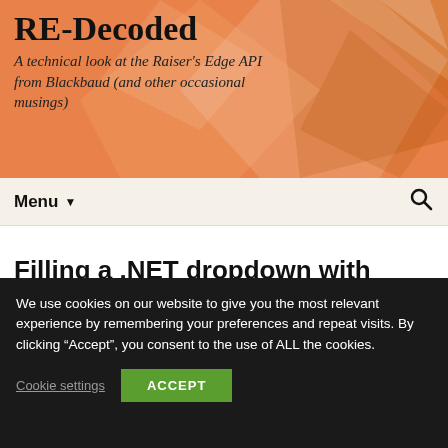RE-Decoded
A technical look at the Raiser's Edge API from Blackbaud (and other occasional musings)
Menu
Filling a .NET dropdown with code table entries
We use cookies on our website to give you the most relevant experience by remembering your preferences and repeat visits. By clicking “Accept”, you consent to the use of ALL the cookies.